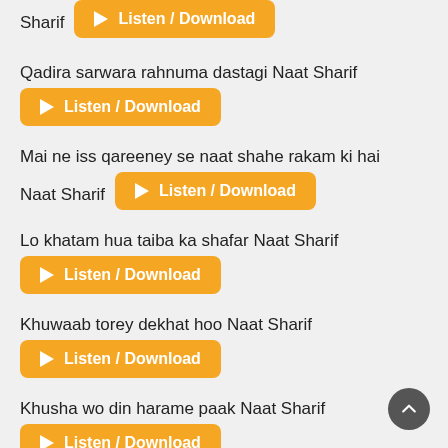Sharif  [Listen / Download]
Qadira sarwara rahnuma dastagi Naat Sharif
Listen / Download
Mai ne iss qareeney se naat shahe rakam ki hai Naat Sharif
Listen / Download
Lo khatam hua taiba ka shafar Naat Sharif
Listen / Download
Khuwaab torey dekhat hoo Naat Sharif
Listen / Download
Khusha wo din harame paak Naat Sharif
Listen / Download